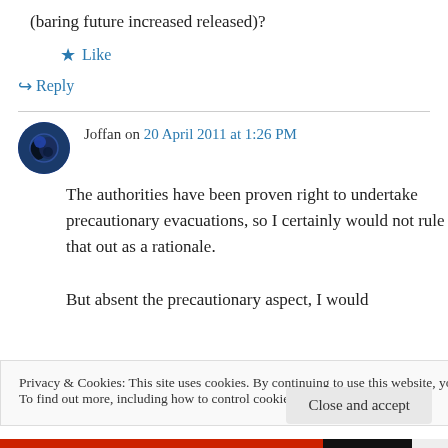(baring future increased released)?
★ Like
↪ Reply
Joffan on 20 April 2011 at 1:26 PM
The authorities have been proven right to undertake precautionary evacuations, so I certainly would not rule that out as a rationale.
But absent the precautionary aspect, I would
Privacy & Cookies: This site uses cookies. By continuing to use this website, you agree to their use.
To find out more, including how to control cookies, see here: Cookie Policy
Close and accept